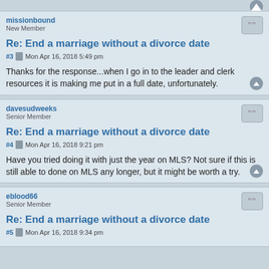missionbound
New Member
Re: End a marriage without a divorce date
#3  Mon Apr 16, 2018 5:49 pm
Thanks for the response...when I go in to the leader and clerk resources it is making me put in a full date, unfortunately.
davesudweeks
Senior Member
Re: End a marriage without a divorce date
#4  Mon Apr 16, 2018 9:21 pm
Have you tried doing it with just the year on MLS? Not sure if this is still able to done on MLS any longer, but it might be worth a try.
eblood66
Senior Member
Re: End a marriage without a divorce date
#5  Mon Apr 16, 2018 9:34 pm